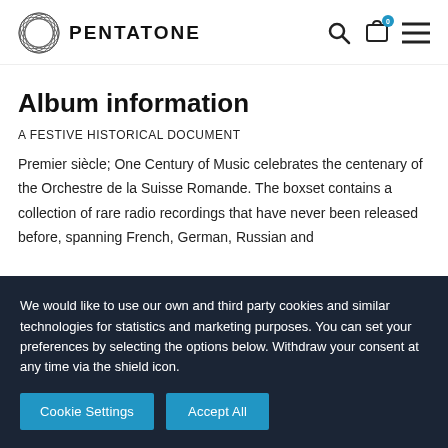PENTATONE
Album information
A FESTIVE HISTORICAL DOCUMENT
Premier siècle; One Century of Music celebrates the centenary of the Orchestre de la Suisse Romande. The boxset contains a collection of rare radio recordings that have never been released before, spanning French, German, Russian and
We would like to use our own and third party cookies and similar technologies for statistics and marketing purposes. You can set your preferences by selecting the options below. Withdraw your consent at any time via the shield icon.
Cookie Settings
Accept All